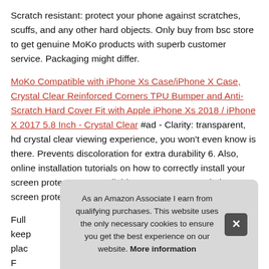Scratch resistant: protect your phone against scratches, scuffs, and any other hard objects. Only buy from bsc store to get genuine MoKo products with superb customer service. Packaging might differ.
MoKo Compatible with iPhone Xs Case/iPhone X Case, Crystal Clear Reinforced Corners TPU Bumper and Anti-Scratch Hard Cover Fit with Apple iPhone Xs 2018 / iPhone X 2017 5.8 Inch - Crystal Clear #ad - Clarity: transparent, hd crystal clear viewing experience, you won't even know is there. Prevents discoloration for extra durability 6. Also, online installation tutorials on how to correctly install your screen protector are available. 033mm tempered glass screen protector. Available in D
Full keep plac
As an Amazon Associate I earn from qualifying purchases. This website uses the only necessary cookies to ensure you get the best experience on our website. More information